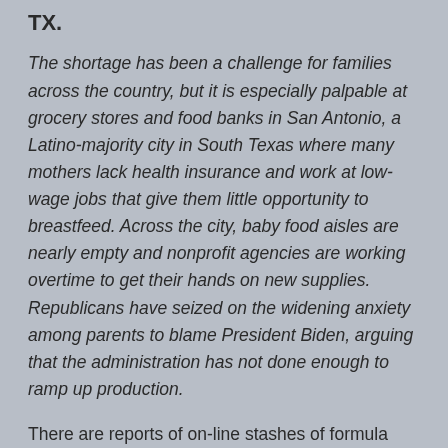TX.
The shortage has been a challenge for families across the country, but it is especially palpable at grocery stores and food banks in San Antonio, a Latino-majority city in South Texas where many mothers lack health insurance and work at low-wage jobs that give them little opportunity to breastfeed. Across the city, baby food aisles are nearly empty and nonprofit agencies are working overtime to get their hands on new supplies. Republicans have seized on the widening anxiety among parents to blame President Biden, arguing that the administration has not done enough to ramp up production.
There are reports of on-line stashes of formula being offered at four times the retail price—and even more for specialty formulas, like the one we used. How low